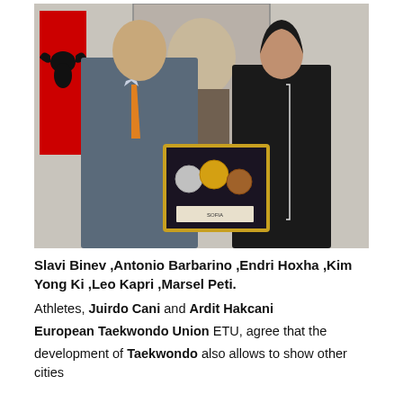[Figure (photo): Two people (a man in a suit and a woman in dark jacket) holding a framed display of medals, standing in front of an Albanian flag and a portrait painting on the wall.]
Slavi Binev ,Antonio Barbarino ,Endri Hoxha ,Kim Yong Ki ,Leo Kapri ,Marsel Peti. Athletes, Juirdo Cani and Ardit Hakcani European Taekwondo Union ETU, agree that the development of Taekwondo also allows to show other cities